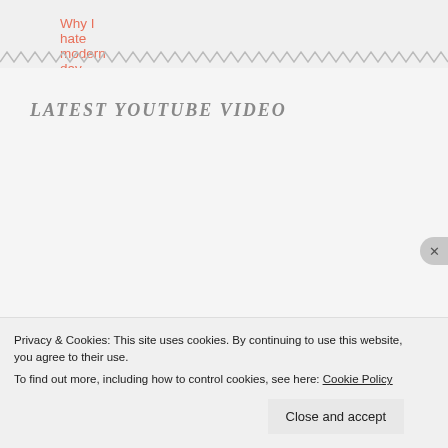Why I hate modern day dating
LATEST YOUTUBE VIDEO
Privacy & Cookies: This site uses cookies. By continuing to use this website, you agree to their use.
To find out more, including how to control cookies, see here: Cookie Policy
Close and accept